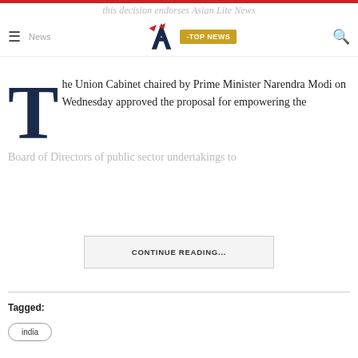this decision endorses Asian Lite News
[Figure (logo): Asian Lite News logo with stylized A and TOP NEWS badge]
The Union Cabinet chaired by Prime Minister Narendra Modi on Wednesday approved the proposal for empowering the Board of Directors of public sector undertakings to
CONTINUE READING...
Tagged:
india